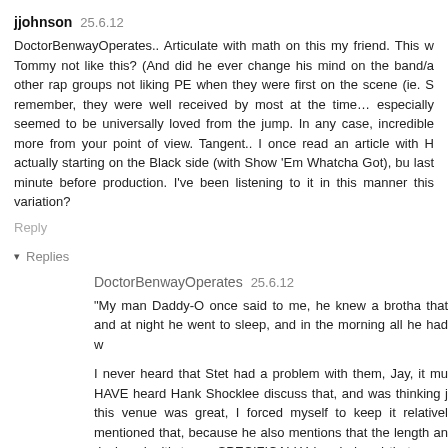jjohnson 25.6.12
DoctorBenwayOperates.. Articulate with math on this my friend. This w Tommy not like this? (And did he ever change his mind on the band/a other rap groups not liking PE when they were first on the scene (ie. S remember, they were well received by most at the time… especially seemed to be universally loved from the jump. In any case, incredible more from your point of view. Tangent.. I once read an article with H actually starting on the Black side (with Show 'Em Whatcha Got), bu last minute before production. I've been listening to it in this manner this variation?
Reply
▾ Replies
DoctorBenwayOperates 25.6.12
"My man Daddy-O once said to me, he knew a brotha that and at night he went to sleep, and in the morning all he had w
I never heard that Stet had a problem with them, Jay, it mu HAVE heard Hank Shocklee discuss that, and was thinking j this venue was great, I forced myself to keep it relativel mentioned that, because he also mentions that the length an designed with tapes SPECIFICALLY in mind and that some the one you mention) were constructed and cut to length wouldn't have to FFWD>> too much to start the next side, w no, sorry man, I've never listened to it "Black Side first," re years later "Countdown to Armageddon" STILL gives me th